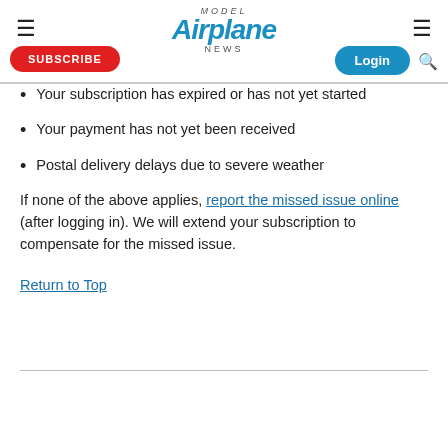Model Airplane News — SUBSCRIBE | Login
Your subscription has expired or has not yet started
Your payment has not yet been received
Postal delivery delays due to severe weather
If none of the above applies, report the missed issue online (after logging in). We will extend your subscription to compensate for the missed issue.
Return to Top